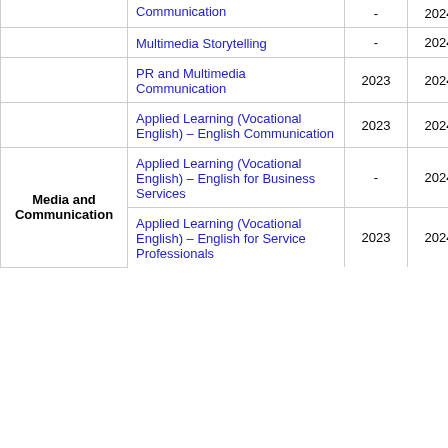| Category | Program | 2023 | 2024 | 2025 |
| --- | --- | --- | --- | --- |
|  | Communication | - | 2024 | 2025 |
|  | Multimedia Storytelling | - | 2024 | 2025 |
|  | PR and Multimedia Communication | 2023 | 2024 | 2025 |
|  | Applied Learning (Vocational English) – English Communication | 2023 | 2024 | 2025 |
| Media and Communication | Applied Learning (Vocational English) – English for Business Services | - | 2024 | 2025 |
| Media and Communication | Applied Learning (Vocational English) – English for Service Professionals | 2023 | 2024 | 2025 |